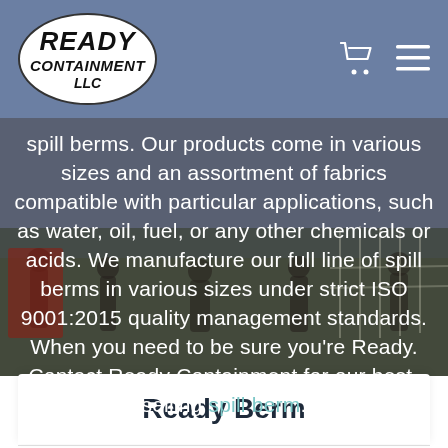[Figure (logo): Ready Containment LLC logo — white oval with bold italic text]
spill berms. Our products come in various sizes and an assortment of fabrics compatible with particular applications, such as water, oil, fuel, or any other chemicals or acids. We manufacture our full line of spill berms in various sizes under strict ISO 9001:2015 quality management standards. When you need to be sure you're Ready. Contact Ready Containment for our best-selling spill berm.
Ready Berm